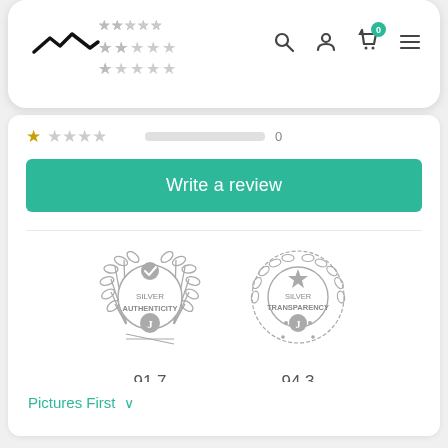[Figure (screenshot): Navigation bar with logo (lightning bolt shape), star ratings (2-star and 1-star rows visible), search icon, user icon, cart icon with badge showing 0, and hamburger menu icon]
[Figure (infographic): One-star rating row with progress bar and count of 0]
Write a review
[Figure (infographic): Two trust badges from Judge.me: Silver Authenticity badge with score 91.7 and Silver Transparency badge with score 94.3, with laurel wreath designs in silver/gray]
Verified by Judge.me
Pictures First ∨